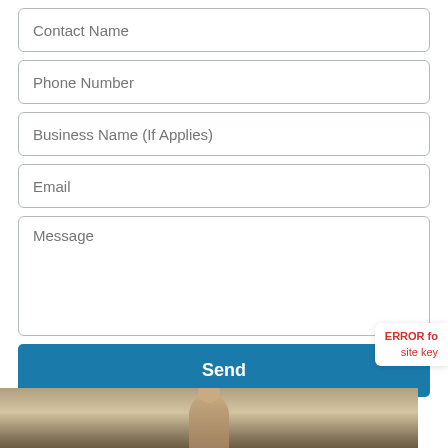[Figure (screenshot): Contact form with fields: Contact Name, Phone Number, Business Name (If Applies), Email, Message, and a Send button. An ERROR badge for missing site key appears at bottom right. A photo strip with a person is at the bottom.]